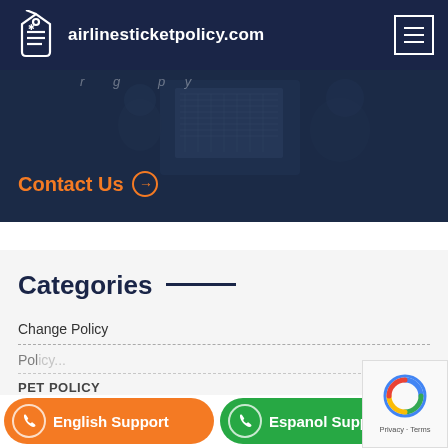airlinesticketpolicy.com
[Figure (screenshot): Hero image of people working at a laptop in a dark-overlay office setting with Contact Us link]
Contact Us →
Categories
Change Policy
Pol...
PET POLICY
English Support
Espanol Support